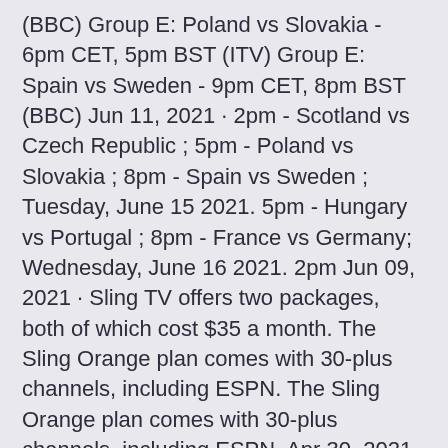(BBC) Group E: Poland vs Slovakia - 6pm CET, 5pm BST (ITV) Group E: Spain vs Sweden - 9pm CET, 8pm BST (BBC) Jun 11, 2021 · 2pm - Scotland vs Czech Republic ; 5pm - Poland vs Slovakia ; 8pm - Spain vs Sweden ; Tuesday, June 15 2021. 5pm - Hungary vs Portugal ; 8pm - France vs Germany; Wednesday, June 16 2021. 2pm Jun 09, 2021 · Sling TV offers two packages, both of which cost $35 a month. The Sling Orange plan comes with 30-plus channels, including ESPN. The Sling Orange plan comes with 30-plus channels, including ESPN. Apr 30, 2021 · 2pm - Scotland vs Czech Republic ; 5pm - Poland vs Slovakia ; 8pm - Spain vs Sweden ; Tuesday, June 15.